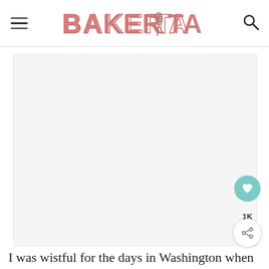BAKERITA
[Figure (photo): Large light gray placeholder image area for a food photo]
I was wistful for the days in Washington when